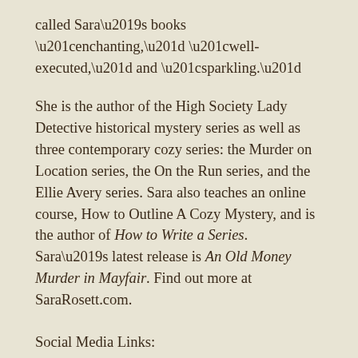called Sara’s books “enchanting,” “well-executed,” and “sparkling.”
She is the author of the High Society Lady Detective historical mystery series as well as three contemporary cozy series: the Murder on Location series, the On the Run series, and the Ellie Avery series. Sara also teaches an online course, How to Outline A Cozy Mystery, and is the author of How to Write a Series. Sara’s latest release is An Old Money Murder in Mayfair. Find out more at SaraRosett.com.
Social Media Links:
Website: http://www.SaraRosett.com